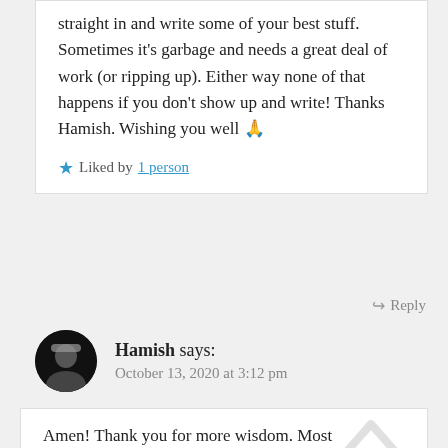straight in and write some of your best stuff. Sometimes it's garbage and needs a great deal of work (or ripping up). Either way none of that happens if you don't show up and write! Thanks Hamish. Wishing you well 🙏
Liked by 1 person
Reply
Hamish says:
October 13, 2020 at 3:12 pm
Amen! Thank you for more wisdom. Most successful writers say you have to write thousands if not millions of bad words to get through to the good ones. We have to do or best to enjoy that process, because in the